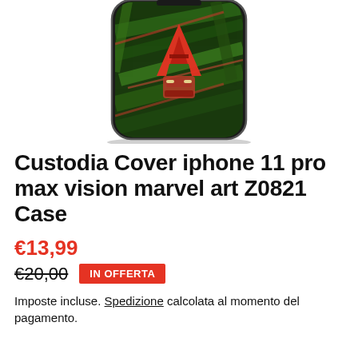[Figure (photo): iPhone 11 Pro Max case with Marvel Avengers art design on green tropical leaf background, displayed as a phone case product photo.]
Custodia Cover iphone 11 pro max vision marvel art Z0821 Case
€13,99
€20,00  IN OFFERTA
Imposte incluse. Spedizione calcolata al momento del pagamento.